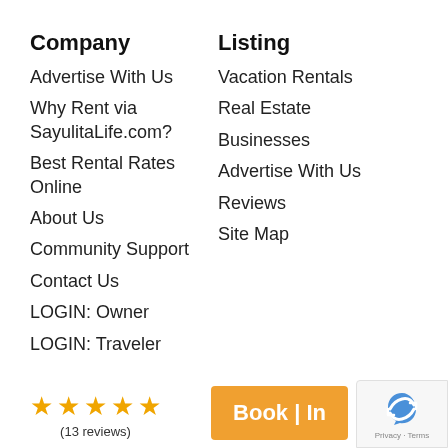Company
Advertise With Us
Why Rent via SayulitaLife.com?
Best Rental Rates Online
About Us
Community Support
Contact Us
LOGIN: Owner
LOGIN: Traveler
Listing
Vacation Rentals
Real Estate
Businesses
Advertise With Us
Reviews
Site Map
Legal
Terms and Conditions
Privacy Policy
Disclaimer and User Policy
(13 reviews)
Book | In